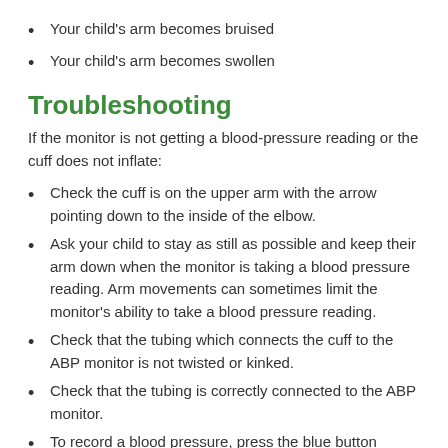Your child's arm becomes bruised
Your child's arm becomes swollen
Troubleshooting
If the monitor is not getting a blood-pressure reading or the cuff does not inflate:
Check the cuff is on the upper arm with the arrow pointing down to the inside of the elbow.
Ask your child to stay as still as possible and keep their arm down when the monitor is taking a blood pressure reading. Arm movements can sometimes limit the monitor's ability to take a blood pressure reading.
Check that the tubing which connects the cuff to the ABP monitor is not twisted or kinked.
Check that the tubing is correctly connected to the ABP monitor.
To record a blood pressure, press the blue button located on the top of the monitor box. Your nurse will show